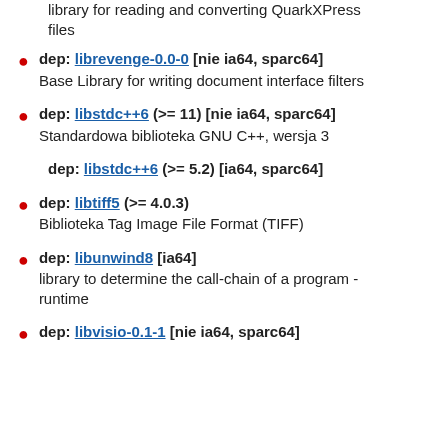library for reading and converting QuarkXPress files
dep: librevenge-0.0-0 [nie ia64, sparc64]
Base Library for writing document interface filters
dep: libstdc++6 (>= 11) [nie ia64, sparc64]
Standardowa biblioteka GNU C++, wersja 3
dep: libstdc++6 (>= 5.2) [ia64, sparc64]
dep: libtiff5 (>= 4.0.3)
Biblioteka Tag Image File Format (TIFF)
dep: libunwind8 [ia64]
library to determine the call-chain of a program - runtime
dep: libvisio-0.1-1 [nie ia64, sparc64]